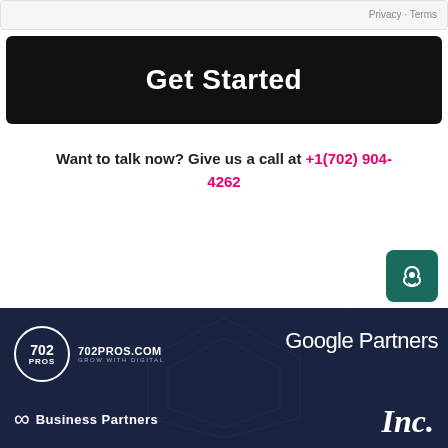Privacy · Terms
Get Started
Want to talk now? Give us a call at +1(702) 904-4262
Powered by OnSago
[Figure (logo): 702PROS.COM logo with circle emblem, text '702PROS.COM GROW WITH DIGITAL']
[Figure (logo): Google Partners logo in white text]
[Figure (logo): Business Partners logo with Facebook icon]
[Figure (logo): Inc. magazine logo in white italic serif font]